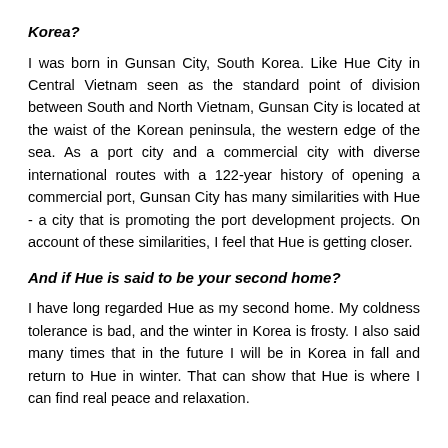Korea?
I was born in Gunsan City, South Korea. Like Hue City in Central Vietnam seen as the standard point of division between South and North Vietnam, Gunsan City is located at the waist of the Korean peninsula, the western edge of the sea. As a port city and a commercial city with diverse international routes with a 122-year history of opening a commercial port, Gunsan City has many similarities with Hue - a city that is promoting the port development projects. On account of these similarities, I feel that Hue is getting closer.
And if Hue is said to be your second home?
I have long regarded Hue as my second home. My coldness tolerance is bad, and the winter in Korea is frosty. I also said many times that in the future I will be in Korea in fall and return to Hue in winter. That can show that Hue is where I can find real peace and relaxation.